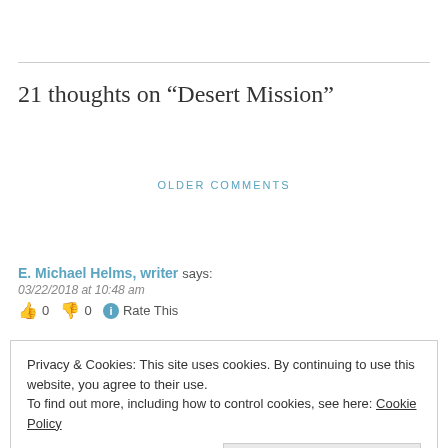21 thoughts on “Desert Mission”
OLDER COMMENTS
E. Michael Helms, writer says:
03/22/2018 at 10:48 am
👍 0 👎 0 ℹ Rate This
Privacy & Cookies: This site uses cookies. By continuing to use this website, you agree to their use. To find out more, including how to control cookies, see here: Cookie Policy
Close and accept